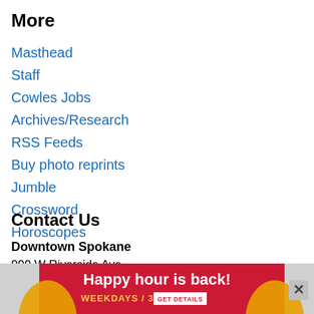More
Masthead
Staff
Cowles Jobs
Archives/Research
RSS Feeds
Buy photo reprints
Jumble
Crossword
Horoscopes
Contact Us
Downtown Spokane
999 W Riverside Ave.
Spokane
[Figure (other): Advertisement banner: Happy hour is back! WEEKDAYS / 3-6PM GET DETAILS with decorative gold arcs on red background, and a close button (X)]